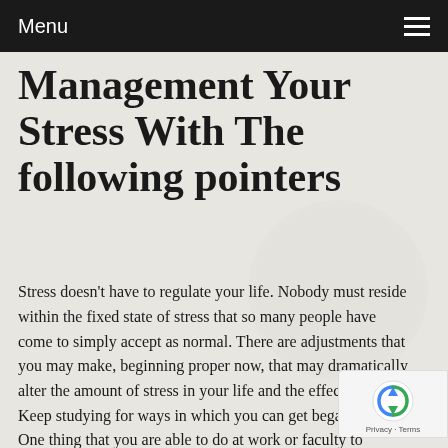Menu
Management Your Stress With The following pointers
Stress doesn't have to regulate your life. Nobody must reside within the fixed state of stress that so many people have come to simply accept as normal. There are adjustments that you may make, beginning proper now, that may dramatically alter the amount of stress in your life and the effects of it. Keep studying for ways in which you can get began.
One thing that you are able to do at work or faculty to